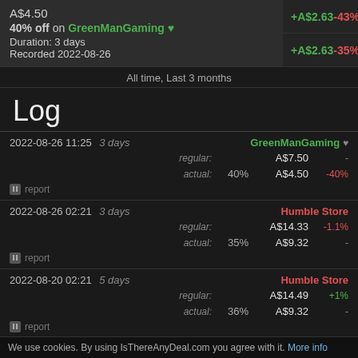A$4.50
40% off on GreenManGaming ♥
Duration: 3 days
Recorded 2022-08-26
+A$2.63   -43%
+A$2.63   -35%
All time, Last 3 months
Log
2022-08-26 11:25  3 days   GreenManGaming ♥
regular:   A$7.50   -
actual:  40%   A$4.50   -40%
🚩 report
2022-08-26 02:21  3 days   Humble Store
regular:   A$14.33   -1.1%
actual:  35%   A$9.32   -
🚩 report
2022-08-20 02:21  5 days   Humble Store
regular:   A$14.49   +1%
actual:  36%   A$9.32   -
🚩 report
2022-08-19 19:47  6 hours   Humble Store
regular:   A$14.34   -
We use cookies. By using IsThereAnyDeal.com you agree with it. More info